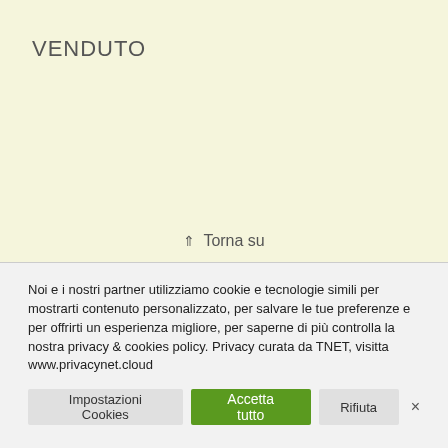VENDUTO
⇑ Torna su
Noi e i nostri partner utilizziamo cookie e tecnologie simili per mostrarti contenuto personalizzato, per salvare le tue preferenze e per offrirti un esperienza migliore, per saperne di più controlla la nostra privacy & cookies policy. Privacy curata da TNET, visitta www.privacynet.cloud
Impostazioni Cookies | Accetta tutto | Rifiuta | ×